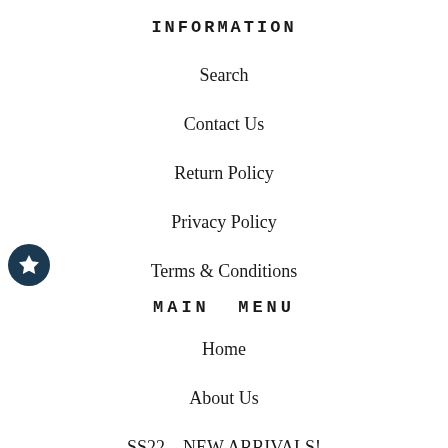INFORMATION
Search
Contact Us
Return Policy
Privacy Policy
Terms & Conditions
MAIN MENU
Home
About Us
SS22 – NEW ARRIVALS!
FEATURED BRANDS